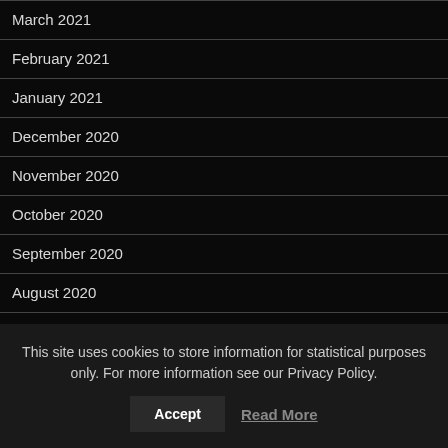March 2021
February 2021
January 2021
December 2020
November 2020
October 2020
September 2020
August 2020
July 2020
This site uses cookies to store information for statistical purposes only. For more information see our Privacy Policy.
Accept  Read More